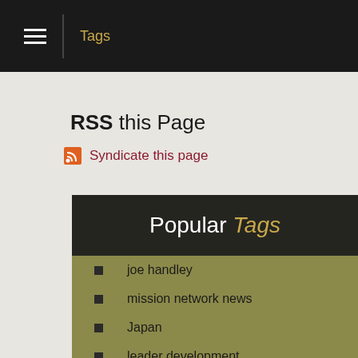Tags
RSS this Page
Syndicate this page
Popular Tags
joe handley
mission network news
Japan
leader development
japan disaster
coronavirus